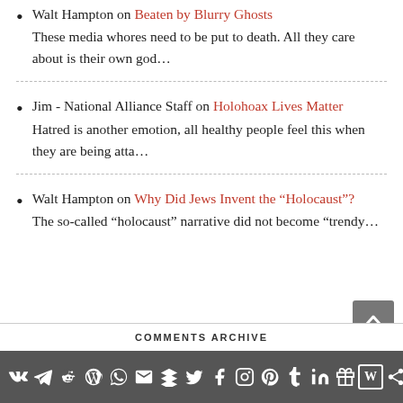Walt Hampton on Beaten by Blurry Ghosts
These media whores need to be put to death. All they care about is their own god…
Jim - National Alliance Staff on Holohoax Lives Matter
Hatred is another emotion, all healthy people feel this when they are being atta…
Walt Hampton on Why Did Jews Invent the “Holocaust”?
The so-called “holocaust” narrative did not become “trendy…
COMMENTS ARCHIVE  [social icons footer bar]